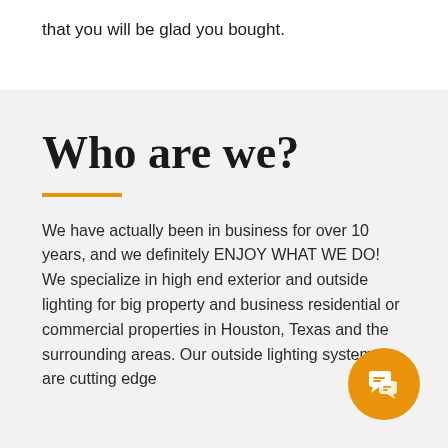that you will be glad you bought.
Who are we?
We have actually been in business for over 10 years, and we definitely ENJOY WHAT WE DO! We specialize in high end exterior and outside lighting for big property and business residential or commercial properties in Houston, Texas and the surrounding areas. Our outside lighting systems are cutting edge